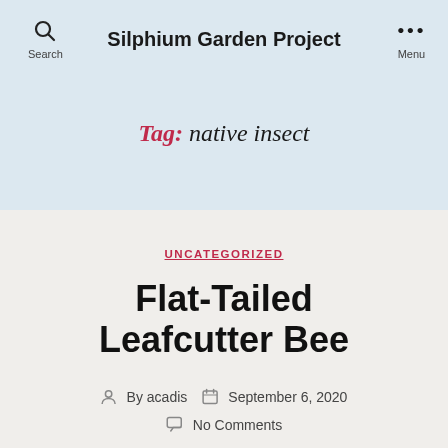Silphium Garden Project
Tag: native insect
UNCATEGORIZED
Flat-Tailed Leafcutter Bee
By acadis  September 6, 2020  No Comments